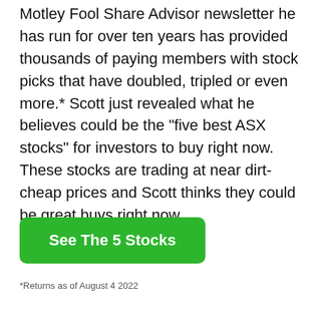Motley Fool Share Advisor newsletter he has run for over ten years has provided thousands of paying members with stock picks that have doubled, tripled or even more.* Scott just revealed what he believes could be the "five best ASX stocks" for investors to buy right now. These stocks are trading at near dirt-cheap prices and Scott thinks they could be great buys right now
See The 5 Stocks
*Returns as of August 4 2022